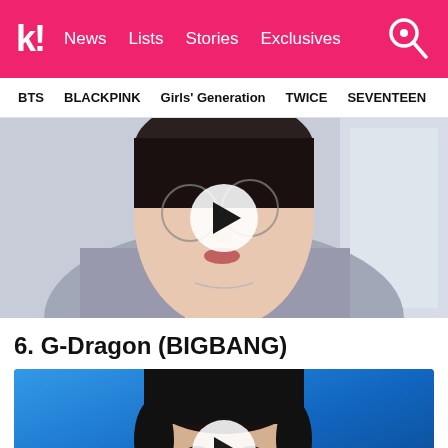k! News Lists Stories Exclusives
BTS BLACKPINK Girls' Generation TWICE SEVENTEEN
[Figure (photo): Close-up photo of a young Asian male in a gray suit and white shirt wearing round wire-frame glasses, with a play button overlay indicating a video thumbnail]
6. G-Dragon (BIGBANG)
[Figure (photo): Photo of a young Asian male with dark hair against a blue background, with a play button overlay indicating a video thumbnail]